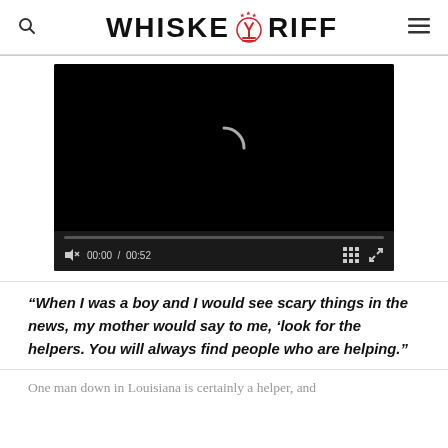WHISKEYRIFF (logo with emblem)
[Figure (screenshot): Video player with black screen showing a loading spinner, a progress bar, and controls showing 00:00 / 00:52 with mute and fullscreen icons]
“When I was a boy and I would see scary things in the news, my mother would say to me, ‘look for the helpers. You will always find people who are helping.”
One man down in Louisiana is certainly a helper, and